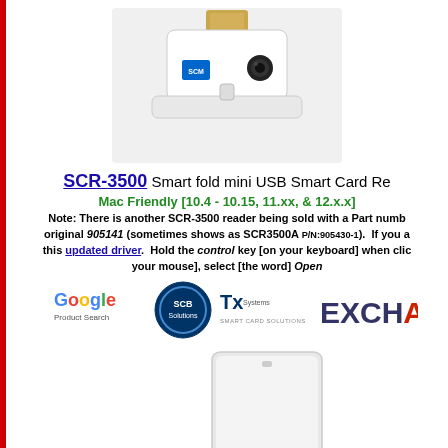[Figure (photo): SCR-3500 Smart fold mini USB Smart Card Reader device photo — white folding USB dongle with SCM logo and camera/lens element]
SCR-3500 Smart fold mini USB Smart Card Reader
Mac Friendly [10.4 - 10.15, 11.xx, & 12.x.x]
Note: There is another SCR-3500 reader being sold with a Part number different from the original 905141 (sometimes shows as SCR3500A P/N:905430-1). If you are using that version, use this updated driver. Hold the control key [on your keyboard] when clicking [the link with your mouse], select [the word] Open
[Figure (logo): Google Product Search logo, SCB Solutions logo, Tx Systems Smart Card Solutions logo, Exchange logo — vendor/retailer logos]
[Figure (photo): Second smart card reader device — white rectangular card reader]